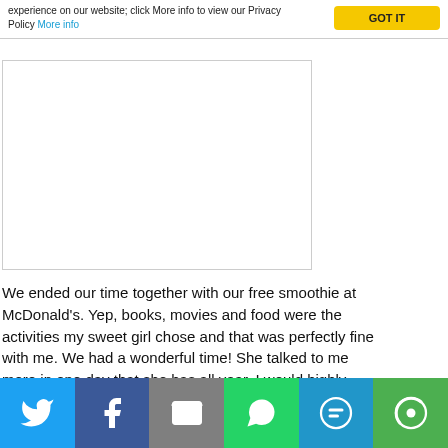experience on our website; click More info to view our Privacy Policy More info
[Figure (other): Advertisement placeholder box with border]
We ended our time together with our free smoothie at McDonald's. Yep, books, movies and food were the activities my sweet girl chose and that was perfectly fine with me. We had a wonderful time! She talked to me more in one day that she has all year. I would highly recommend a Mommy and me day!
[Figure (infographic): Social sharing bar with Twitter, Facebook, Email, WhatsApp, SMS, and More buttons]